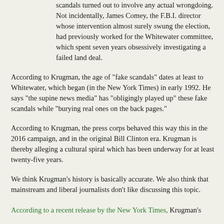scandals turned out to involve any actual wrongdoing. Not incidentally, James Comey, the F.B.I. director whose intervention almost surely swung the election, had previously worked for the Whitewater committee, which spent seven years obsessively investigating a failed land deal.
According to Krugman, the age of "fake scandals" dates at least to Whitewater, which began (in the New York Times) in early 1992. He says "the supine news media" has "obligingly played up" these fake scandals while "burying real ones on the back pages."
According to Krugman, the press corps behaved this way this in the 2016 campaign, and in the original Bill Clinton era. Krugman is thereby alleging a cultural spiral which has been underway for at least twenty-five years.
We think Krugman's history is basically accurate. We also think that mainstream and liberal journalists don't like discussing this topic.
According to a recent release by the New York Times, Krugman's...